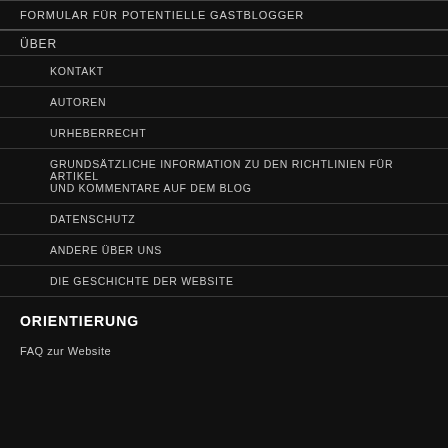FORMULAR FÜR POTENTIELLE GASTBLOGGER
ÜBER
KONTAKT
AUTOREN
URHEBERRECHT
GRUNDSÄTZLICHE INFORMATION ZU DEN RICHTLINIEN FÜR ARTIKEL UND KOMMENTARE AUF DEM BLOG
DATENSCHUTZ
ANDERE ÜBER UNS
DIE GESCHICHTE DER WEBSITE
ORIENTIERUNG
FAQ zur Website